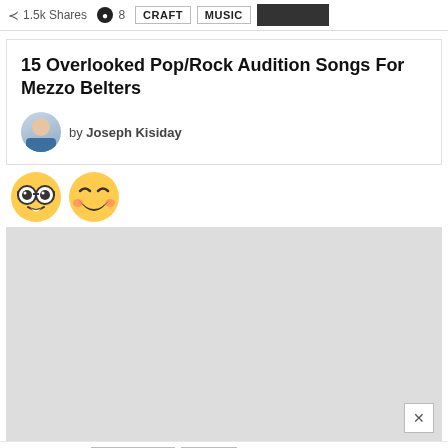1.5k Shares  8  CRAFT  MUSIC
15 Overlooked Pop/Rock Audition Songs For Mezzo Belters
by Joseph Kisiday
[Figure (illustration): Two emoji icons: a nerd/glasses emoji and a laughing emoji]
[Figure (illustration): Large gray advertisement placeholder block with two emoji icons at top left and a close button at bottom right]
1k Shares  BROADWAY  CRAFT
8 Great Audition Songs From The 2015-2016 Broadway Season